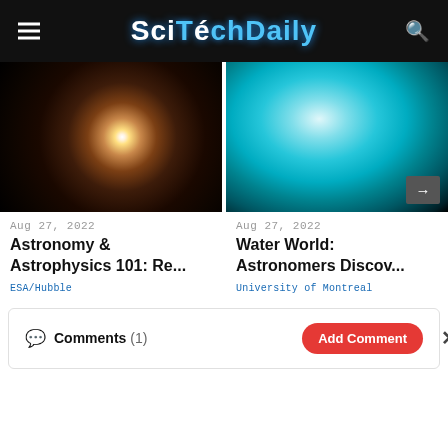SciTechDaily
[Figure (photo): Astronomical illustration of a bright star with radial diffraction spikes against dark nebula background]
[Figure (photo): Artistic rendering of a blue-green water world exoplanet against dark space background]
Aug 27, 2022
Astronomy & Astrophysics 101: Re...
ESA/Hubble
Aug 27, 2022
Water World: Astronomers Discov...
University of Montreal
Comments (1)
Add Comment